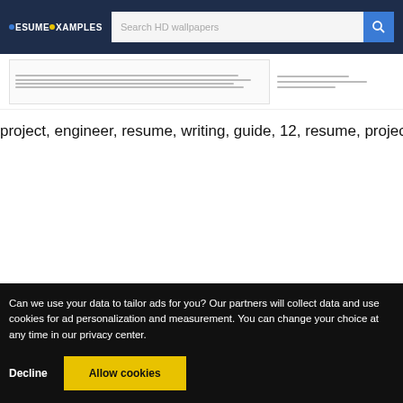RESUME EXAMPLES — Search HD wallpapers
[Figure (screenshot): Thumbnail preview of a project engineer resume document with text lines and sidebar]
project, engineer, resume, writing, guide, 12, resume, project, engineer, obj…
Can we use your data to tailor ads for you? Our partners will collect data and use cookies for ad personalization and measurement. You can change your choice at any time in our privacy center.
Decline    Allow cookies